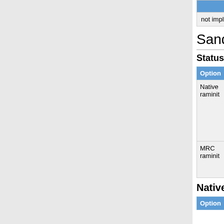| Overclocking |  |  |  |
| --- | --- | --- | --- |
| not implemented | no | no | no |
Sandybridge/Ivybridge
Status
| Option | Supported | Implemented | Working | Descri... |
| --- | --- | --- | --- | --- |
| Native raminit | yes | yes | yes | Native Raminit working most frequently on most boards. There may be errors to fix. |
| MRC raminit | yes | yes | ? |  |
Native raminit features
| Option | Supported | Implemented | Work... |
| --- | --- | --- | --- |